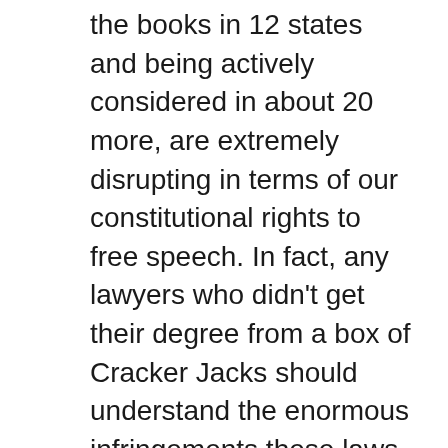the books in 12 states and being actively considered in about 20 more, are extremely disrupting in terms of our constitutional rights to free speech. In fact, any lawyers who didn't get their degree from a box of Cracker Jacks should understand the enormous infringements these laws have on our civil liberties and what remains of our democracy. Ifs obvious that the intent of the laws is to intimidate and create a “chilling” effect on all food safety advocates. In other words, the food industry has effectively bought these laws from politicians so that citizens concerned with issues such as irradiation, toxic pesticides, or food biotechnology will think twice before speaking out about the devastating impact such technologies have